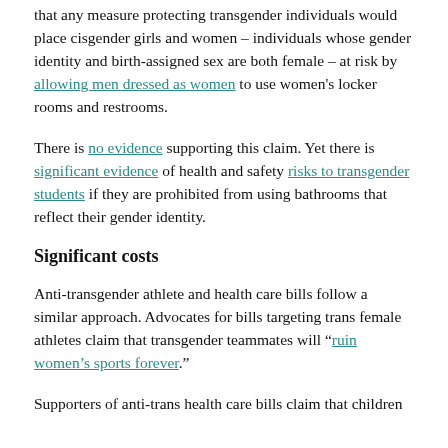that any measure protecting transgender individuals would place cisgender girls and women – individuals whose gender identity and birth-assigned sex are both female – at risk by allowing men dressed as women to use women's locker rooms and restrooms.
There is no evidence supporting this claim. Yet there is significant evidence of health and safety risks to transgender students if they are prohibited from using bathrooms that reflect their gender identity.
Significant costs
Anti-transgender athlete and health care bills follow a similar approach. Advocates for bills targeting trans female athletes claim that transgender teammates will "ruin women's sports forever."
Supporters of anti-trans health care bills claim that children